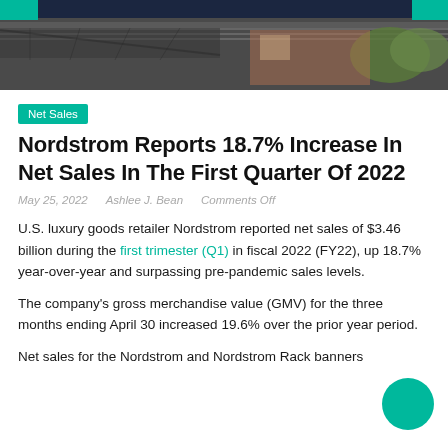[Figure (photo): Top banner photo of a Nordstrom store exterior with dark overlay and teal corner accents]
Net Sales
Nordstrom Reports 18.7% Increase In Net Sales In The First Quarter Of 2022
May 25, 2022   Ashlee J. Bean   Comments Off
U.S. luxury goods retailer Nordstrom reported net sales of $3.46 billion during the first trimester (Q1) in fiscal 2022 (FY22), up 18.7% year-over-year and surpassing pre-pandemic sales levels.
The company's gross merchandise value (GMV) for the three months ending April 30 increased 19.6% over the prior year period.
Net sales for the Nordstrom and Nordstrom Rack banners